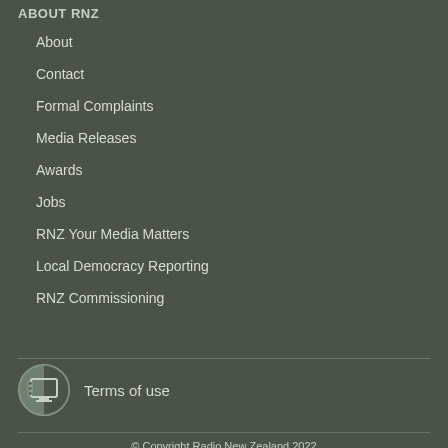ABOUT RNZ
About
Contact
Formal Complaints
Media Releases
Awards
Jobs
RNZ Your Media Matters
Local Democracy Reporting
RNZ Commissioning
Terms of use
© Copyright Radio New Zealand 2022